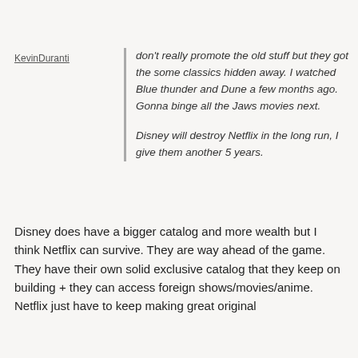KevinDuranti
don't really promote the old stuff but they got the some classics hidden away. I watched Blue thunder and Dune a few months ago. Gonna binge all the Jaws movies next.

Disney will destroy Netflix in the long run, I give them another 5 years.
Disney does have a bigger catalog and more wealth but I think Netflix can survive. They are way ahead of the game.
They have their own solid exclusive catalog that they keep on building + they can access foreign shows/movies/anime.
Netflix just have to keep making great original